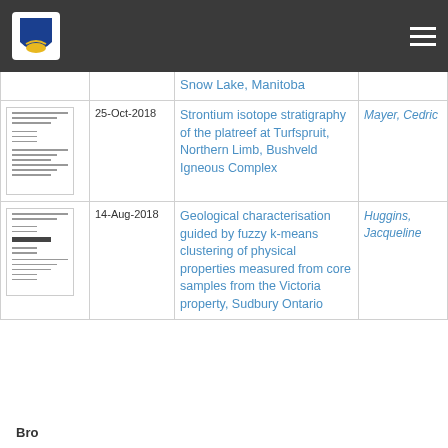[Figure (screenshot): University/institution navigation bar with logo and hamburger menu icon on dark background]
| Thumbnail | Date | Title | Author |
| --- | --- | --- | --- |
| [thumbnail] |  | Snow Lake, Manitoba |  |
| [thumbnail] | 25-Oct-2018 | Strontium isotope stratigraphy of the platreef at Turfspruit, Northern Limb, Bushveld Igneous Complex | Mayer, Cedric |
| [thumbnail] | 14-Aug-2018 | Geological characterisation guided by fuzzy k-means clustering of physical properties measured from core samples from the Victoria property, Sudbury Ontario | Huggins, Jacqueline |
Browse